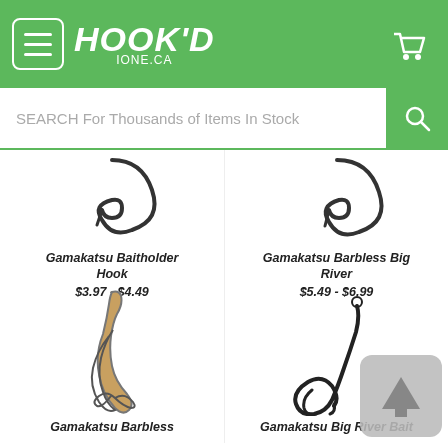HOOK'D - IONE.CA
SEARCH For Thousands of Items In Stock
[Figure (photo): Gamakatsu Baitholder Hook product image - fish hook on white background]
Gamakatsu Baitholder Hook
$3.97 - $4.49
[Figure (photo): Gamakatsu Barbless Big River product image - fish hook on white background]
Gamakatsu Barbless Big River
$5.49 - $6.99
[Figure (photo): Gamakatsu Barbless product image - circle fish hook on white background]
Gamakatsu Barbless
[Figure (photo): Gamakatsu Big River Bait product image - dark fish hook on white background]
Gamakatsu Big River Bait